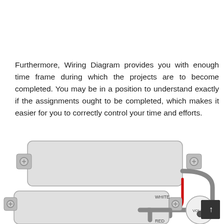Furthermore, Wiring Diagram provides you with enough time frame during which the projects are to become completed. You may be in a position to understand exactly if the assignments ought to be completed, which makes it easier for you to correctly control your time and efforts.
[Figure (schematic): Partial guitar wiring diagram showing two humbucker pickups (rectangular components with mounting ears and screws), connected by gray and red wires. A volume knob component is partially visible on the right side. Labels include WHITE, RED, and VOLUME.]